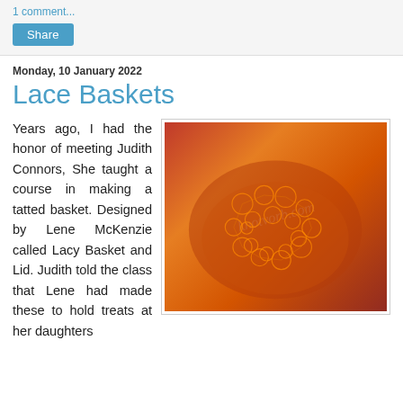1 comment...
Share
Monday, 10 January 2022
Lace Baskets
Years ago, I had the honor of meeting Judith Connors, She taught a course in making a tatted basket. Designed by Lene McKenzie called Lacy Basket and Lid. Judith told the class that Lene had made these to hold treats at her daughters
[Figure (photo): A orange tatted lace basket photographed on a dark keyboard background, with a watermark overlay reading knotvorb.com]